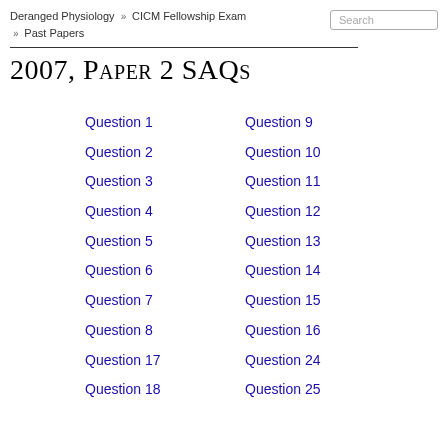Deranged Physiology » CICM Fellowship Exam » Past Papers
2007, Paper 2 SAQs
Question 1
Question 9
Question 2
Question 10
Question 3
Question 11
Question 4
Question 12
Question 5
Question 13
Question 6
Question 14
Question 7
Question 15
Question 8
Question 16
Question 17
Question 24
Question 18
Question 25